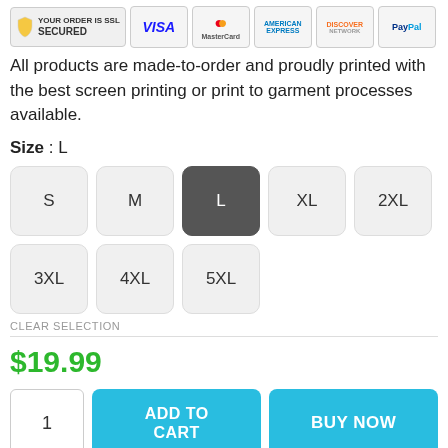[Figure (logo): SSL Secured badge and payment method logos: VISA, MasterCard, American Express, Discover, PayPal]
All products are made-to-order and proudly printed with the best screen printing or print to garment processes available.
Size : L
[Figure (other): Size selection buttons: S, M, L (selected/dark), XL, 2XL, 3XL, 4XL, 5XL]
CLEAR SELECTION
$19.99
[Figure (other): Quantity input box showing 1, ADD TO CART button, BUY NOW button]
• Shipping calculated at checkout